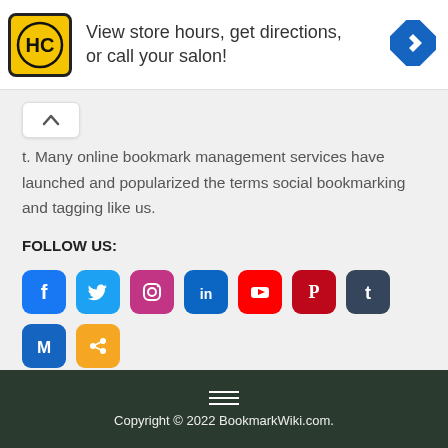[Figure (other): Advertisement banner with HC logo (yellow circle with HC letters), text 'View store hours, get directions, or call your salon!', and a blue diamond-shaped navigation arrow icon on the right. Small play and close buttons on left edge.]
t. Many online bookmark management services have launched and popularized the terms social bookmarking and tagging like us.
FOLLOW US:
[Figure (infographic): Row of social media icons: Facebook (blue), Twitter (light blue), Instagram (purple/gradient), LinkedIn (dark blue), YouTube (red), Pinterest (dark red), Tumblr (dark blue), Medium (blue with M), ShareThis (orange)]
Copyright © 2022 BookmarkWiki.com.